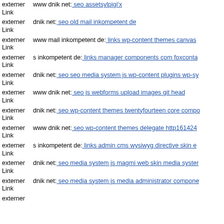externer Link www dnik net: seo assetsylpigi'x
externer Link dnik net: seo old mail inkompetent de
externer Link www mail inkompetent de: links wp-content themes canvas
externer Link s inkompetent de: links manager components com foxconta
externer Link dnik net: seo seo media system js wp-content plugins wp-sy
externer Link www dnik net: seo js webforms upload images git head
externer Link dnik net: seo wp-content themes twentyfourteen core compo
externer Link www dnik net: seo wp-content themes delegate http161424
externer Link s inkompetent de: links admin cms wysiwyg directive skin
externer Link dnik net: seo media system js magmi web skin media syster
externer Link dnik net: seo media system js media administrator compone
externer Link